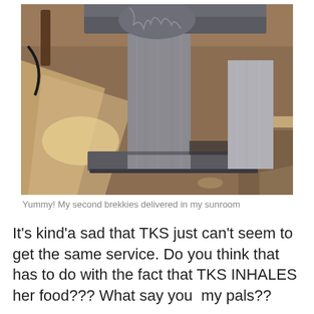[Figure (photo): A cat tree/scratching post with grey carpeted poles and platform base, photographed in a sunlit room with wooden flooring. The cat is partially visible at the top. Sunlight creates bright patches on the floor in the background.]
Yummy! My second brekkies delivered in my sunroom
It's kind'a sad that TKS just can't seem to get the same service. Do you think that has to do with the fact that TKS INHALES her food??? What say you  my pals??